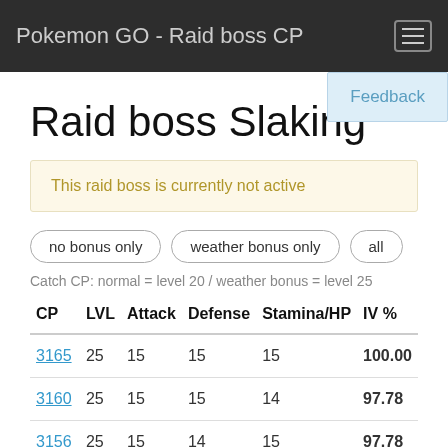Pokemon GO - Raid boss CP
Raid boss Slaking
This raid boss is currently not active
no bonus only
weather bonus only
all
Catch CP: normal = level 20 / weather bonus = level 25
| CP | LVL | Attack | Defense | Stamina/HP | IV % |
| --- | --- | --- | --- | --- | --- |
| 3165 | 25 | 15 | 15 | 15 | 100.00 |
| 3160 | 25 | 15 | 15 | 14 | 97.78 |
| 3156 | 25 | 15 | 14 | 15 | 97.78 |
| 3148 | 25 | 15 | 13 | 14 | 93.33 |